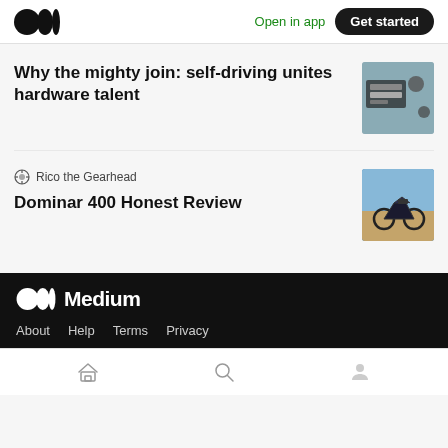Medium logo | Open in app | Get started
Why the mighty join: self-driving unites hardware talent
Rico the Gearhead
Dominar 400 Honest Review
[Figure (photo): Thumbnail image of hardware/electronics components]
[Figure (photo): Thumbnail image of a motorcycle (Dominar 400) on a dirt road with blue sky]
Medium logo — About  Help  Terms  Privacy
[Figure (other): Bottom navigation bar with Home, Search, and Profile icons]